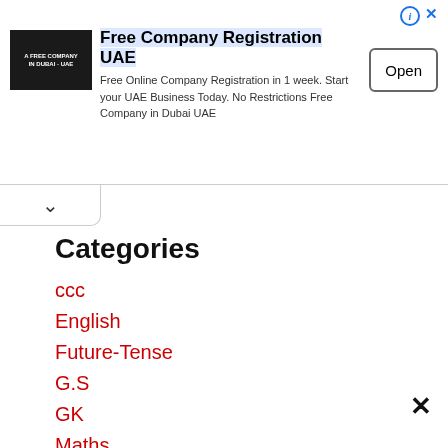[Figure (infographic): Advertisement banner for Free Company Registration UAE with logo, description text, and Open button]
Categories
ccc
English
Future-Tense
G.S
GK
Maths
One-word-substitution